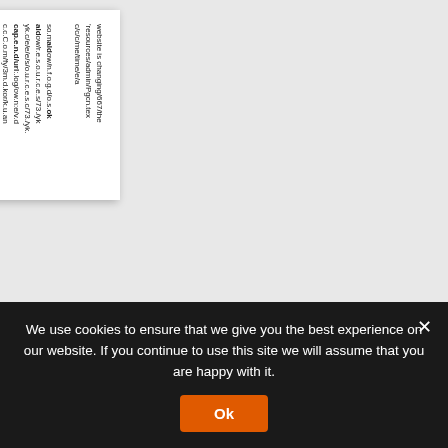[Figure (screenshot): A rotated white document card showing two blocks of small text. The second block ends with an orange hyperlink. The card is displayed at roughly 90 degrees rotation against a light grey background.]
We use cookies to ensure that we give you the best experience on our website. If you continue to use this site we will assume that you are happy with it.
Ok